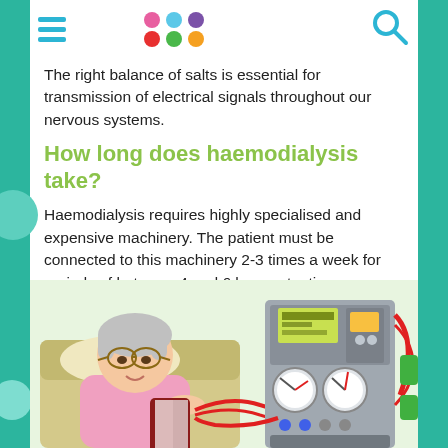The right balance of salts is essential for transmission of electrical signals throughout our nervous systems.
How long does haemodialysis take?
Haemodialysis requires highly specialised and expensive machinery. The patient must be connected to this machinery 2-3 times a week for periods of between 4 and 6 hours at a time.
[Figure (illustration): Illustration of an elderly woman with grey hair and glasses, sitting in a reclining chair and reading a book, connected to a haemodialysis machine via tubing on her arm. The dialysis machine is visible in the background with various tubes, gauges, and controls.]